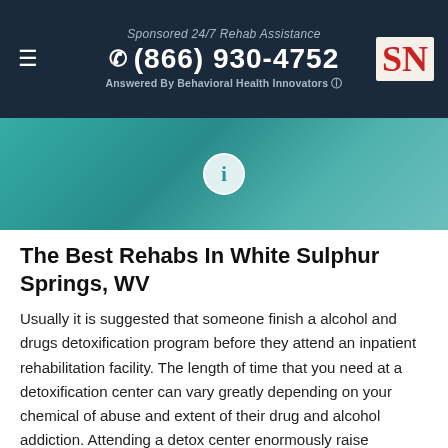Sponsored 24/7 Rehab Assistance
☎ (866) 930-4752
Answered By Behavioral Health Innovators ℹ
[Figure (photo): Teal/turquoise colored background image with a white circle info icon in the center, partially cropped at top and bottom.]
The Best Rehabs In White Sulphur Springs, WV
Usually it is suggested that someone finish a alcohol and drugs detoxification program before they attend an inpatient rehabilitation facility. The length of time that you need at a detoxification center can vary greatly depending on your chemical of abuse and extent of their drug and alcohol addiction. Attending a detox center enormously raise someone ability of succeeding in sobriety. When you are ready to restart your life, then it is very important that you find a detox facility to start